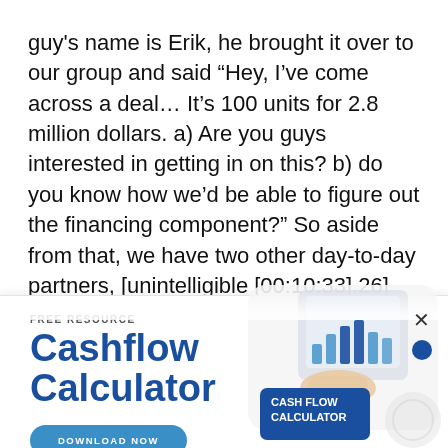guy's name is Erik, he brought it over to our group and said “Hey, I’ve come across a deal… It’s 100 units for 2.8 million dollars. a) Are you guys interested in getting in on this? b) do you know how we’d be able to figure out the financing component?” So aside from that, we have two other day-to-day partners, [unintelligible [00:10:33].26] and we’re really sort of underwriting the deals, seeing if it made
[Figure (infographic): Advertisement banner for a free Cashflow Calculator resource with a download button and an image of hands using a tablet with charts, plus a blue card labeled CASH FLOW CALCULATOR]